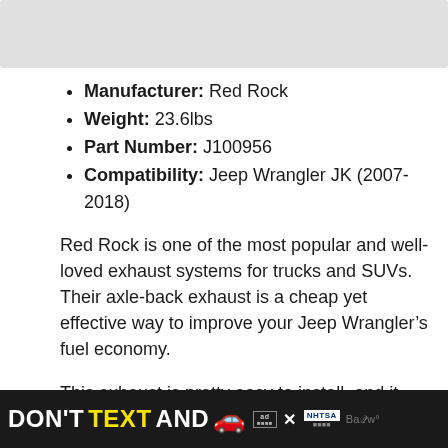[Figure (photo): Gray image placeholder bar at top of page]
Manufacturer: Red Rock
Weight: 23.6lbs
Part Number: J100956
Compatibility: Jeep Wrangler JK (2007-2018)
Red Rock is one of the most popular and well-loved exhaust systems for trucks and SUVs. Their axle-back exhaust is a cheap yet effective way to improve your Jeep Wrangler’s fuel economy.
This exhaust is pretty easy to install, and it can provide a much-wanted increase in
[Figure (other): Advertisement banner: DON'T TEXT AND [car emoji] with ad badge and NHTSA logo on black background]